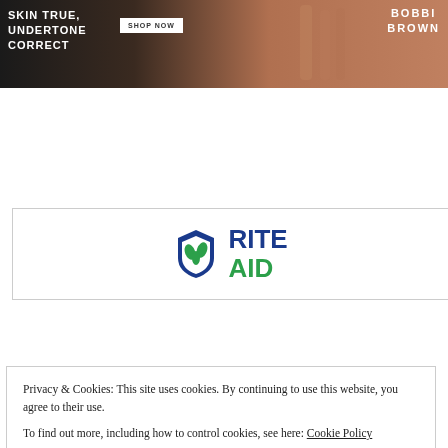[Figure (illustration): Bobbi Brown cosmetics banner advertisement with text 'SKIN TRUE, UNDERTONE CORRECT', a 'SHOP NOW' button, and the Bobbi Brown logo on the right, set against a dark background with makeup product imagery.]
[Figure (logo): Rite Aid pharmacy logo with shield icon and wordmark 'RITE AID' in blue and green, inside a bordered rectangle advertisement.]
[Figure (illustration): Target advertisement with bullseye logo, tagline 'expect more. pay less.' in red, and 'shop now' text on a light gray background.]
Privacy & Cookies: This site uses cookies. By continuing to use this website, you agree to their use.
To find out more, including how to control cookies, see here: Cookie Policy
Close and accept